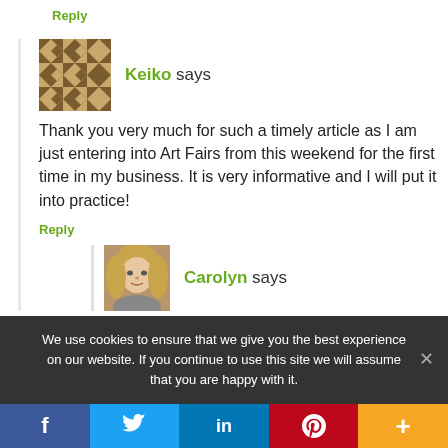Reply
Keiko says
Thank you very much for such a timely article as I am just entering into Art Fairs from this weekend for the first time in my business. It is very informative and I will put it into practice!
Reply
Carolyn says
We use cookies to ensure that we give you the best experience on our website. If you continue to use this site we will assume that you are happy with it.